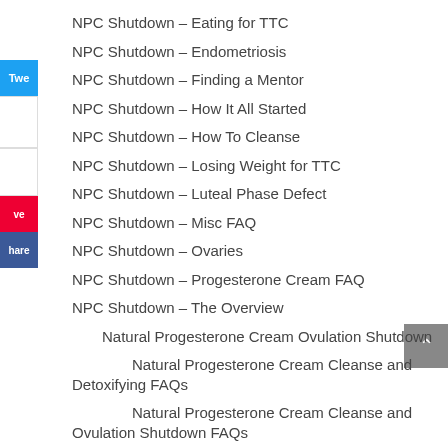NPC Shutdown – Eating for TTC
NPC Shutdown – Endometriosis
NPC Shutdown – Finding a Mentor
NPC Shutdown – How It All Started
NPC Shutdown – How To Cleanse
NPC Shutdown – Losing Weight for TTC
NPC Shutdown – Luteal Phase Defect
NPC Shutdown – Misc FAQ
NPC Shutdown – Ovaries
NPC Shutdown – Progesterone Cream FAQ
NPC Shutdown – The Overview
Natural Progesterone Cream Ovulation Shutdown
Natural Progesterone Cream Cleanse and Detoxifying FAQs
Natural Progesterone Cream Cleanse and Ovulation Shutdown FAQs